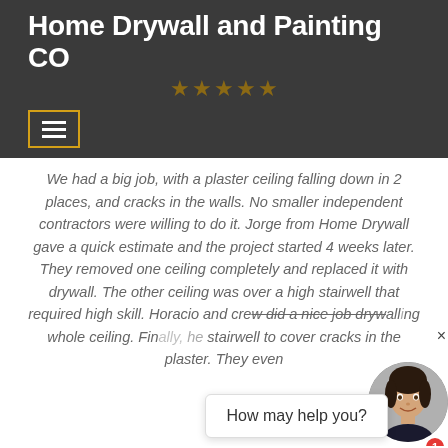Home Drywall and Painting CO
[Figure (illustration): Five dark gold/brown star rating icons in a row]
[Figure (other): Hamburger menu button with three horizontal lines, yellow border]
We had a big job, with a plaster ceiling falling down in 2 places, and cracks in the walls. No smaller independent contractors were willing to do it. Jorge from Home Drywall gave a quick estimate and the project started 4 weeks later. They removed one ceiling completely and replaced it with drywall. The other ceiling was over a high stairwell that required high skill. Horacio and crew did a nice job drywalling whole ceiling. Finally, he stairwell to cover cracks in the plaster. They even
[Figure (other): Chat widget overlay with agent photo of smiling woman, notification badge showing 1, and chat bubble saying 'How may help you?']